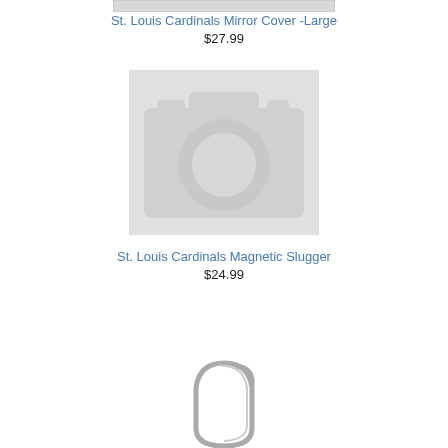[Figure (photo): Partial top of product image for St. Louis Cardinals Mirror Cover - Large, mostly cropped off at top of page]
St. Louis Cardinals Mirror Cover -Large
$27.99
[Figure (photo): Placeholder camera icon image (gray background with white camera outline) for St. Louis Cardinals Magnetic Slugger product]
St. Louis Cardinals Magnetic Slugger
$24.99
[Figure (photo): Partial product image showing a metallic carabiner clip at bottom of page]